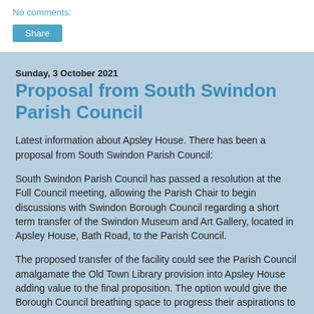No comments:
Share
Sunday, 3 October 2021
Proposal from South Swindon Parish Council
Latest information about Apsley House. There has been a proposal from South Swindon Parish Council:
South Swindon Parish Council has passed a resolution at the Full Council meeting, allowing the Parish Chair to begin discussions with Swindon Borough Council regarding a short term transfer of the Swindon Museum and Art Gallery, located in Apsley House, Bath Road, to the Parish Council.
The proposed transfer of the facility could see the Parish Council amalgamate the Old Town Library provision into Apsley House adding value to the final proposition. The option would give the Borough Council breathing space to progress their aspirations to